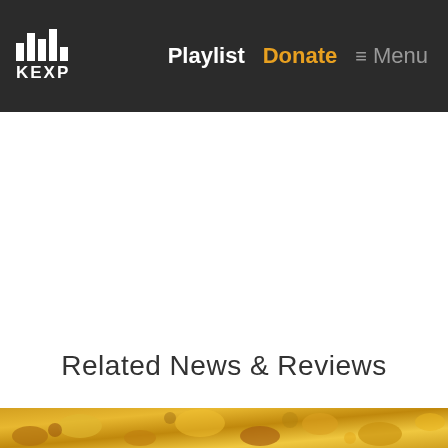KEXP — Playlist   Donate   ≡ Menu
Related News & Reviews
[Figure (photo): Colorful food or floral image strip at the bottom of the page, showing warm yellow/golden tones]